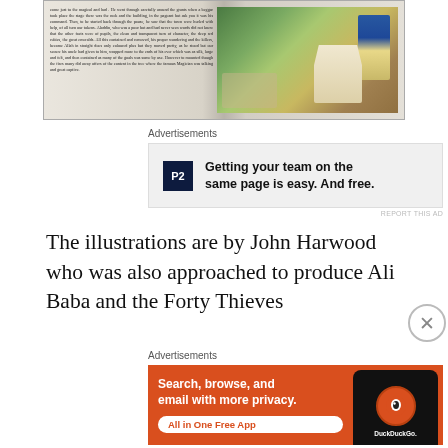[Figure (photo): Photograph of an open book showing a text page on the left and a colorful illustration on the right featuring a figure in a tropical or outdoor scene]
Advertisements
[Figure (other): Advertisement for P2: 'Getting your team on the same page is easy. And free.' with P2 logo]
The illustrations are by John Harwood who was also approached to produce Ali Baba and the Forty Thieves
Advertisements
[Figure (other): DuckDuckGo advertisement: 'Search, browse, and email with more privacy. All in One Free App' with phone graphic and DuckDuckGo logo]